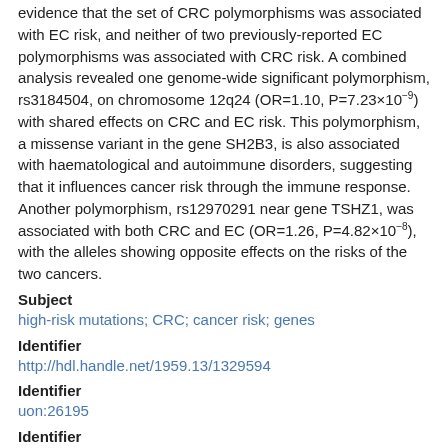evidence that the set of CRC polymorphisms was associated with EC risk, and neither of two previously-reported EC polymorphisms was associated with CRC risk. A combined analysis revealed one genome-wide significant polymorphism, rs3184504, on chromosome 12q24 (OR=1.10, P=7.23×10⁻⁹) with shared effects on CRC and EC risk. This polymorphism, a missense variant in the gene SH2B3, is also associated with haematological and autoimmune disorders, suggesting that it influences cancer risk through the immune response. Another polymorphism, rs12970291 near gene TSHZ1, was associated with both CRC and EC (OR=1.26, P=4.82×10⁻⁸), with the alleles showing opposite effects on the risks of the two cancers.
Subject
high-risk mutations; CRC; cancer risk; genes
Identifier
http://hdl.handle.net/1959.13/1329594
Identifier
uon:26195
Identifier
ISSN:2045-2322
Rights
This work is licensed under a Creative Commons Attribution